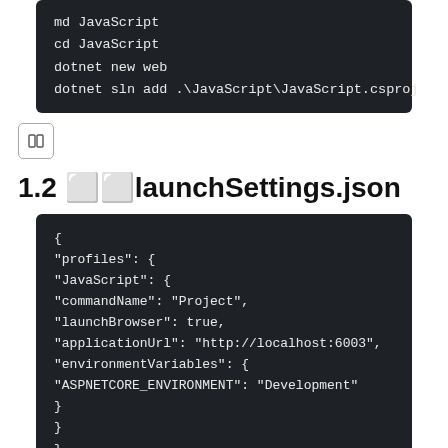[Figure (screenshot): Dark-themed code block showing terminal commands: md JavaScript, cd JavaScript, dotnet new web, dotnet sln add .\JavaScript\JavaScript.csproj]
[Figure (other): Small icon button with two squares/columns icon]
1.2 ⬜⬜launchSettings.json
[Figure (screenshot): Dark-themed code block showing JSON content of launchSettings.json with profiles, JavaScript, commandName, launchBrowser, applicationUrl, environmentVariables, ASPNETCORE_ENVIRONMENT]